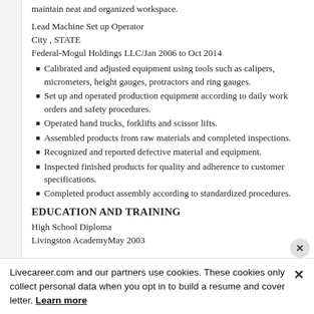maintain neat and organized workspace.
Lead Machine Set up Operator
City , STATE
Federal-Mogul Holdings LLC/Jan 2006 to Oct 2014
Calibrated and adjusted equipment using tools such as calipers, micrometers, height gauges, protractors and ring gauges.
Set up and operated production equipment according to daily work orders and safety procedures.
Operated hand trucks, forklifts and scissor lifts.
Assembled products from raw materials and completed inspections.
Recognized and reported defective material and equipment.
Inspected finished products for quality and adherence to customer specifications.
Completed product assembly according to standardized procedures.
EDUCATION AND TRAINING
High School Diploma
Livingston AcademyMay 2003
Livecareer.com and our partners use cookies. These cookies only collect personal data when you opt in to build a resume and cover letter. Learn more